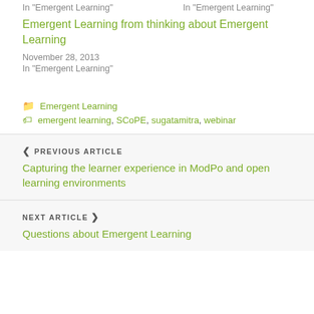In "Emergent Learning"   In "Emergent Learning"
Emergent Learning from thinking about Emergent Learning
November 28, 2013
In "Emergent Learning"
Emergent Learning
emergent learning, SCoPE, sugatamitra, webinar
PREVIOUS ARTICLE
Capturing the learner experience in ModPo and open learning environments
NEXT ARTICLE
Questions about Emergent Learning